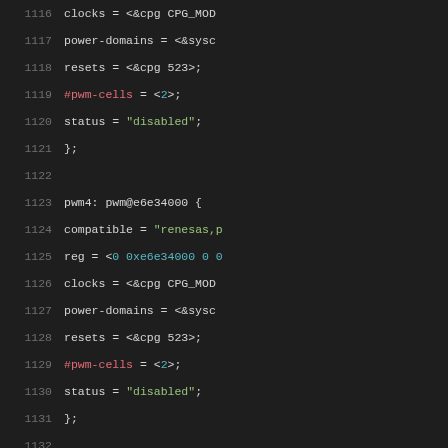[Figure (screenshot): Source code listing showing device tree entries for PWM nodes (pwm4 and pwm5) with line numbers 1116-1137, displaying properties like power-domains, resets, #pwm-cells, status, compatible, reg, clocks in a dark-themed code editor.]